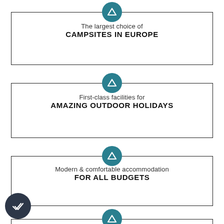[Figure (infographic): Three feature cards with teal arrow-up logo icons. Card 1: 'The largest choice of CAMPSITES IN EUROPE'. Card 2: 'First-class facilities for AMAZING OUTDOOR HOLIDAYS'. Card 3: 'Modern & comfortable accommodation FOR ALL BUDGETS' with a dark checkmark circle. A fourth card begins at the bottom.]
The largest choice of
CAMPSITES IN EUROPE
First-class facilities for
AMAZING OUTDOOR HOLIDAYS
Modern & comfortable accommodation
FOR ALL BUDGETS